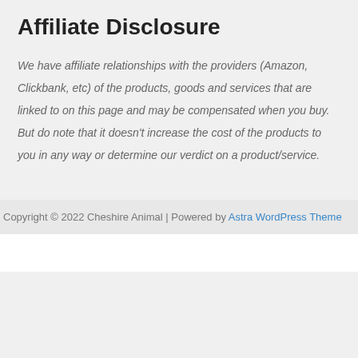Affiliate Disclosure
We have affiliate relationships with the providers (Amazon, Clickbank, etc) of the products, goods and services that are linked to on this page and may be compensated when you buy. But do note that it doesn’t increase the cost of the products to you in any way or determine our verdict on a product/service.
Copyright © 2022 Cheshire Animal | Powered by Astra WordPress Theme